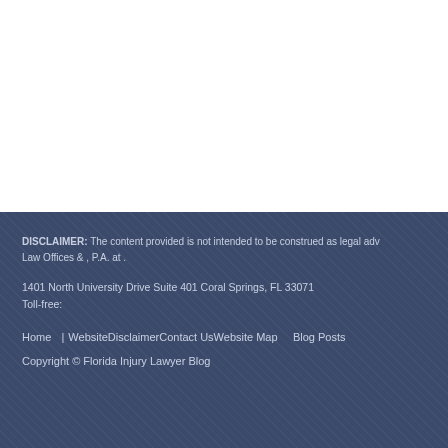DISCLAIMER: The content provided is not intended to be construed as legal adv Law Offices & , P.A. at .
1401 North University Drive Suite 401 Coral Springs, FL 33071
Toll-free:
Home  |WebsiteDisclaimerContact UsWebsite Map    Blog Posts
Copyright © Florida Injury Lawyer Blog